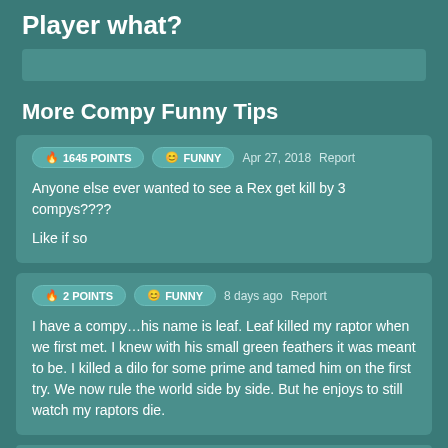Player what?
More Compy Funny Tips
1645 POINTS   FUNNY   Apr 27, 2018   Report

Anyone else ever wanted to see a Rex get kill by 3 compys????

Like if so
2 POINTS   FUNNY   8 days ago   Report

I have a compy…his name is leaf. Leaf killed my raptor when we first met. I knew with his small green feathers it was meant to be. I killed a dilo for some prime and tamed him on the first try. We now rule the world side by side. But he enjoys to still watch my raptors die.